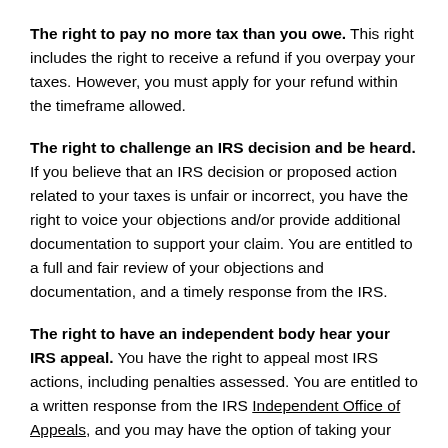The right to pay no more tax than you owe. This right includes the right to receive a refund if you overpay your taxes. However, you must apply for your refund within the timeframe allowed.
The right to challenge an IRS decision and be heard. If you believe that an IRS decision or proposed action related to your taxes is unfair or incorrect, you have the right to voice your objections and/or provide additional documentation to support your claim. You are entitled to a full and fair review of your objections and documentation, and a timely response from the IRS.
The right to have an independent body hear your IRS appeal. You have the right to appeal most IRS actions, including penalties assessed. You are entitled to a written response from the IRS Independent Office of Appeals, and you may have the option of taking your case to court.